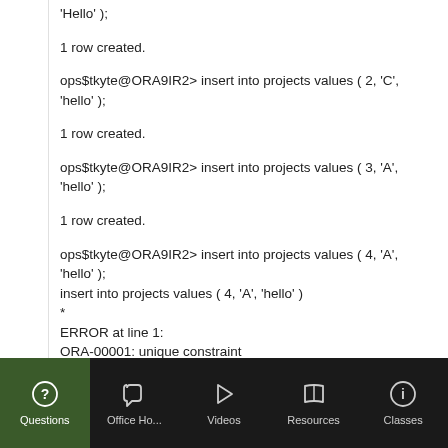'Hello' );
1 row created.
ops$tkyte@ORA9IR2> insert into projects values ( 2, 'C', 'hello' );
1 row created.
ops$tkyte@ORA9IR2> insert into projects values ( 3, 'A', 'hello' );
1 row created.
ops$tkyte@ORA9IR2> insert into projects values ( 4, 'A',
'hello' );
insert into projects values ( 4, 'A', 'hello' )
*
ERROR at line 1:
ORA-00001: unique constraint
Questions  Office Ho...  Videos  Resources  Classes